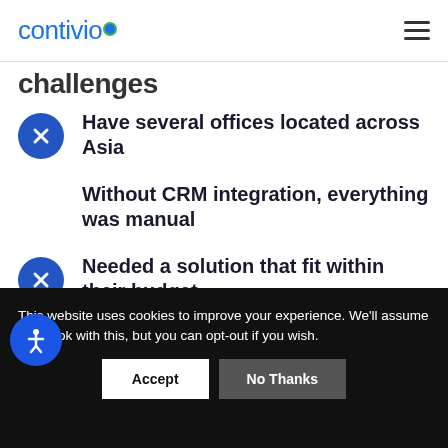contivio
challenges
Have several offices located across Asia
Without CRM integration, everything was manual
Needed a solution that fit within their budget
This website uses cookies to improve your experience. We'll assume you're ok with this, but you can opt-out if you wish.